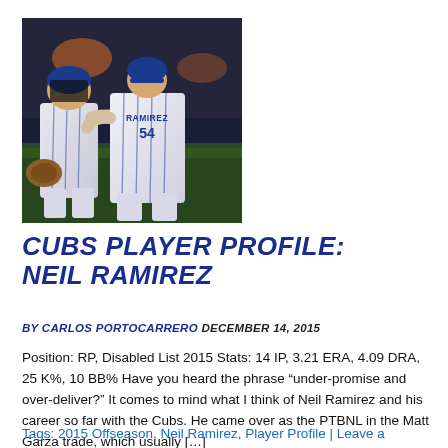[Figure (photo): Two Chicago Cubs baseball players in pinstripe uniforms embracing on the field. The player facing away has 'RAMIREZ' and number 54 on his jersey. The other player appears to be a catcher.]
CUBS PLAYER PROFILE: NEIL RAMIREZ
BY CARLOS PORTOCARRERO DECEMBER 14, 2015
Position: RP, Disabled List 2015 Stats: 14 IP, 3.21 ERA, 4.09 DRA, 25 K%, 10 BB% Have you heard the phrase “under-promise and over-deliver?” It comes to mind what I think of Neil Ramirez and his career so far with the Cubs. He came over as the PTBNL in the Matt Garza trade, which usually […]
Tags: 2015 Offseason, Neil Ramirez, Player Profile | Leave a